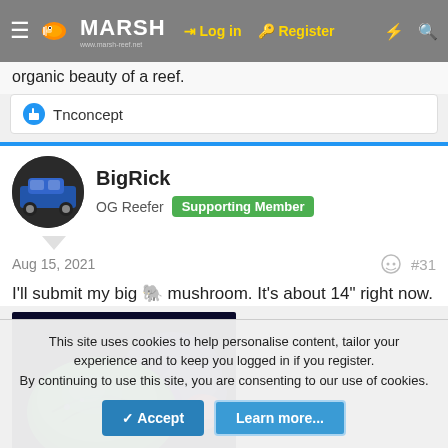MARSH — Log in — Register
organic beauty of a reef.
👍 Tnconcept
BigRick
OG Reefer  Supporting Member
Aug 15, 2021  #31
I'll submit my big 🐘 mushroom. It's about 14" right now.
[Figure (photo): Close-up photo of a large green mushroom coral in a reef aquarium with blue/purple corals in the background]
This site uses cookies to help personalise content, tailor your experience and to keep you logged in if you register.
By continuing to use this site, you are consenting to our use of cookies.
✓ Accept  Learn more...